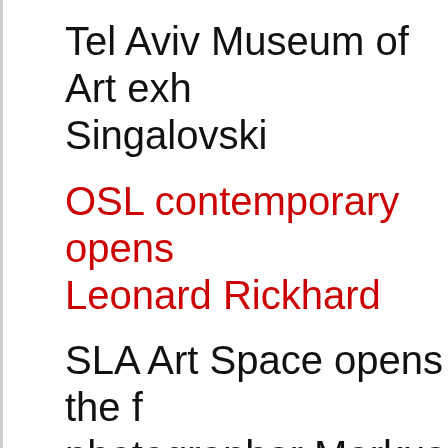Tel Aviv Museum of Art exh… Singalovski
OSL contemporary opens Leonard Rickhard
SLA Art Space opens the f… photographer Markus Niko…
MassArt announces recipie… advance racial justice thro…
Alison Lurie, tart-voiced no…